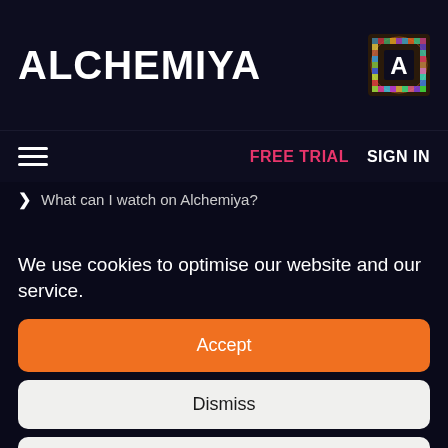ALCHEMIYA
FREE TRIAL   SIGN IN
> What can I watch on Alchemiya?
We use cookies to optimise our website and our service.
Accept
Dismiss
Preferences
Cookie Information   Privacy Policy